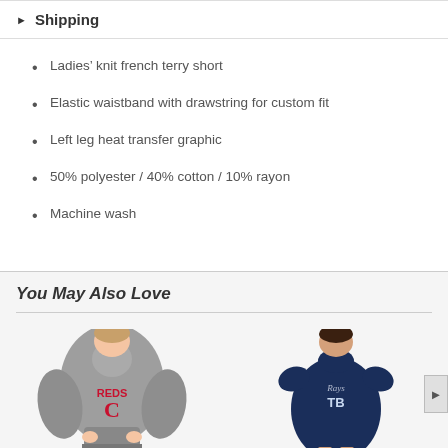Shipping
Ladies' knit french terry short
Elastic waistband with drawstring for custom fit
Left leg heat transfer graphic
50% polyester / 40% cotton / 10% rayon
Machine wash
You May Also Love
[Figure (photo): Two product photos showing women's athletic apparel: left shows a grey Cincinnati Reds hoodie, right shows a navy Tampa Bay Rays t-shirt dress.]